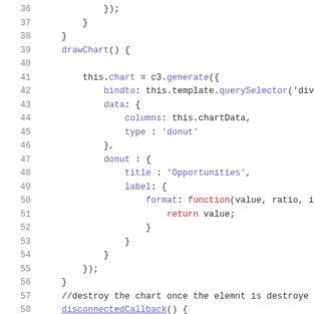[Figure (screenshot): Code snippet showing JavaScript lines 36-58 with syntax highlighting. Blue keywords for property names and string values, red for function/return keywords, gray for line numbers.]